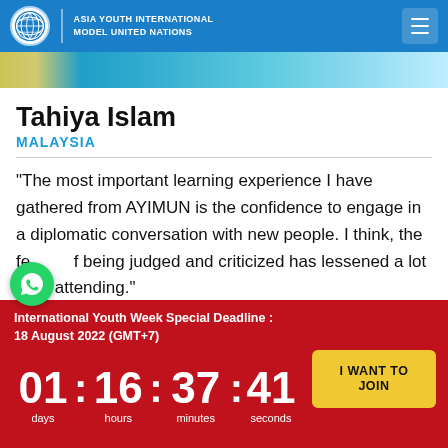ASIA YOUTH INTERNATIONAL MODEL UNITED NATIONS
Tahiya Islam
MALAYSIA
“The most important learning experience I have gathered from AYIMUN is the confidence to engage in a diplomatic conversation with new people. I think, the fear of being judged and criticized has lessened a lot after attending."
International Youth Week Special Deadline : 18 August 2022 (GMT+7)
01 : 16 : 37 : 41
days   hours   minutes   seconds
I WANT TO JOIN